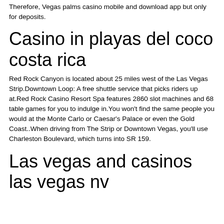Therefore, Vegas palms casino mobile and download app but only for deposits.
Casino in playas del coco costa rica
Red Rock Canyon is located about 25 miles west of the Las Vegas Strip.Downtown Loop: A free shuttle service that picks riders up at.Red Rock Casino Resort Spa features 2860 slot machines and 68 table games for you to indulge in.You won't find the same people you would at the Monte Carlo or Caesar's Palace or even the Gold Coast..When driving from The Strip or Downtown Vegas, you'll use Charleston Boulevard, which turns into SR 159.
Las vegas and casinos las vegas nv